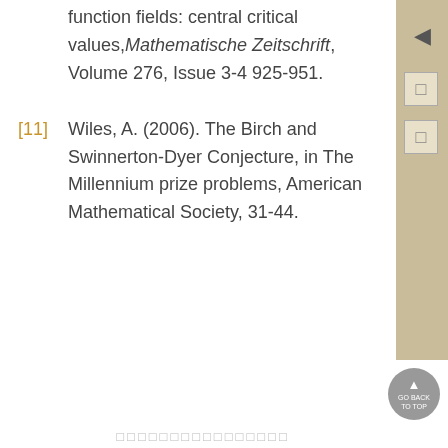function fields: central critical values, Mathematische Zeitschrift, Volume 276, Issue 3-4 925-951.
[11] Wiles, A. (2006). The Birch and Swinnerton-Dyer Conjecture, in The Millennium prize problems, American Mathematical Society, 31-44.
□□□□□□□□□□□□□□□□